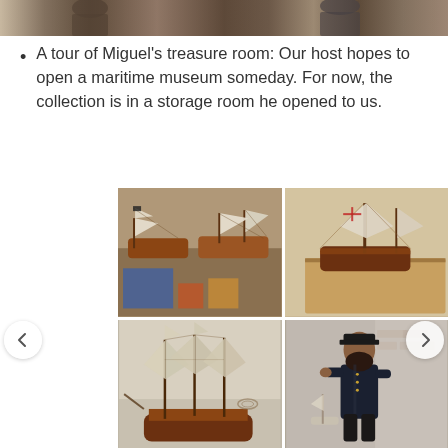[Figure (photo): Top cropped photo strip showing people in a room, partially visible]
A tour of Miguel’s treasure room: Our host hopes to open a maritime museum someday. For now, the collection is in a storage room he opened to us.
[Figure (photo): Grid of four photos showing model sailing ships from Miguel's maritime collection, including tall ships and a sailor figurine]
[Figure (photo): Top-left: Two model tall ships with sails displayed on a shelf, with storage items below]
[Figure (photo): Top-right: Model sailing ship with cross on sail in a wooden box]
[Figure (photo): Bottom-left: Detailed model sailing ship with multiple masts and sails]
[Figure (photo): Bottom-right: Dark figurine of a sailor/captain with beard, standing pose]